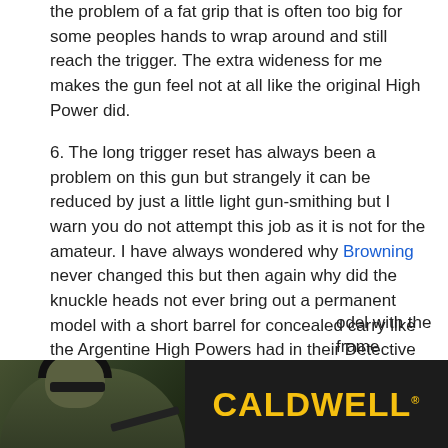the problem of a fat grip that is often too big for some peoples hands to wrap around and still reach the trigger. The extra wideness for me makes the gun feel not at all like the original High Power did.
6. The long trigger reset has always been a problem on this gun but strangely it can be reduced by just a little light gun-smithing but I warn you do not attempt this job as it is not for the amateur. I have always wondered why Browning never changed this but then again why did the knuckle heads not ever bring out a permanent model with a short barrel for concealed carry like the Argentine High Powers had in their Detective model or why did not [obscured] odel with the frame
[Figure (photo): Advertisement banner for Caldwell showing a person wearing headphones and sunglasses on the left (dark background, outdoor shooting scene), and the CALDWELL logo in bold yellow text on a black background on the right.]